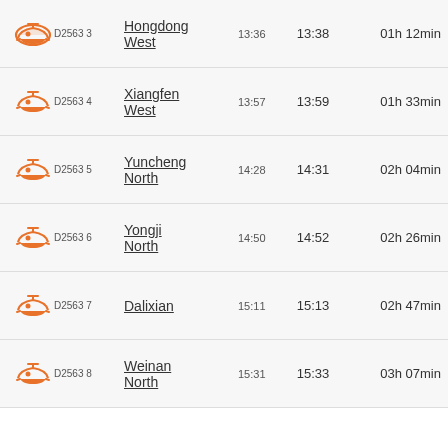D2563 3 | Hongdong West | 13:36 | 13:38 | 01h 12min
D2563 4 | Xiangfen West | 13:57 | 13:59 | 01h 33min
D2563 5 | Yuncheng North | 14:28 | 14:31 | 02h 04min
D2563 6 | Yongji North | 14:50 | 14:52 | 02h 26min
D2563 7 | Dalixian | 15:11 | 15:13 | 02h 47min
D2563 8 | Weinan North | 15:31 | 15:33 | 03h 07min